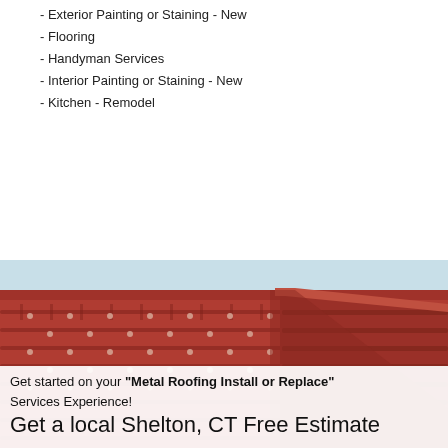- Exterior Painting or Staining - New
- Flooring
- Handyman Services
- Interior Painting or Staining - New
- Kitchen - Remodel
[Figure (photo): Close-up photo of a red/terracotta metal tile roof with light blue sky in background]
Get started on your "Metal Roofing Install or Replace" Services Experience!
Get a local Shelton, CT Free Estimate